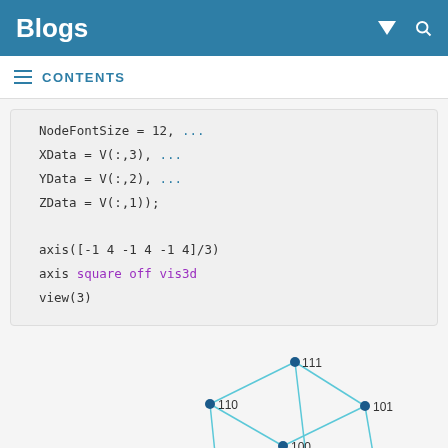Blogs
CONTENTS
NodeFontSize = 12, ...
    XData = V(:,3), ...
    YData = V(:,2), ...
    ZData = V(:,1));

axis([-1 4 -1 4 -1 4]/3)
axis square off vis3d
view(3)
[Figure (network-graph): 3D cube graph with nodes labeled 111, 110, 101, 100, 011, 010, 001 shown in isometric perspective with teal/cyan edges and filled dark blue circle node markers]